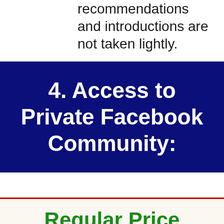recommendations and introductions are not taken lightly.
4. Access to Private Facebook Community:
Regular Price $3,000
Exclusively For